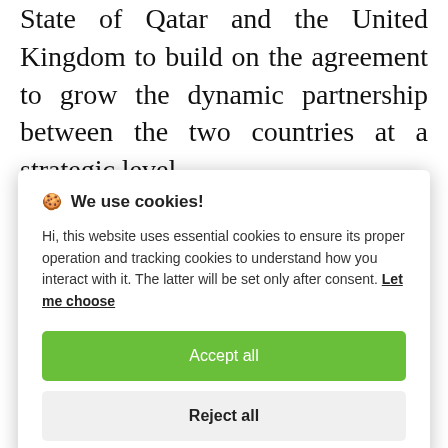State of Qatar and the United Kingdom to build on the agreement to grow the dynamic partnership between the two countries at a strategic level.
The State of Qatar intends to leverage
🍪 We use cookies! Hi, this website uses essential cookies to ensure its proper operation and tracking cookies to understand how you interact with it. The latter will be set only after consent. Let me choose
Accept all
Reject all
Strategic    Investment    Partnership,